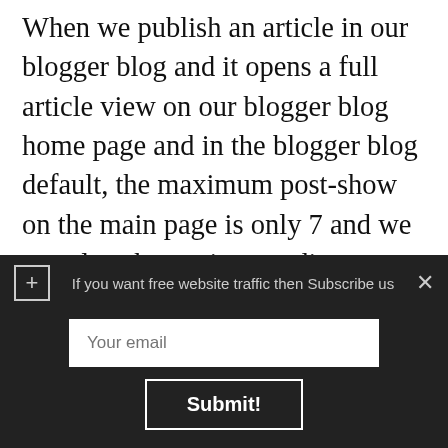When we publish an article in our blogger blog and it opens a full article view on our blogger blog home page and in the blogger blog default, the maximum post-show on the main page is only 7 and we can also change it according to our blog layout, when we published at least 10 posts in our blogger blog then the 7 posts fully show up on the blog homepage and it like awkward to blog design, so we can use jump break, read more link, continue reading option in our blog post before we publishing our article.
Now here when you are creating a read more button or jump break in your blog post and it's so good to our blog
[Figure (screenshot): Dark overlay modal with a plus button, text 'If you want free website traffic then Subscribe us', a close X button, an email input field with placeholder 'Your email', and a Submit! button.]